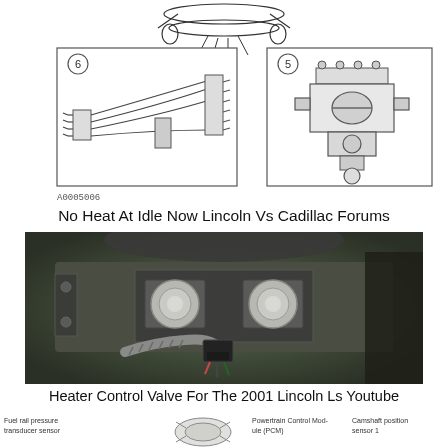[Figure (schematic): Engineering schematic diagrams showing numbered components (6 and 5) — exhaust/fuel line routing (item 6, left) and a valve/fitting assembly (item 5, right), with a partial vehicle undercarriage diagram at top center. Reference code A0005006 shown below left diagram.]
No Heat At Idle Now Lincoln Vs Cadillac Forums
[Figure (photo): Photograph of a heater control valve assembly installed in a 2001 Lincoln LS engine bay, showing two round actuator cylinders and a corrugated hose with electrical connector.]
Heater Control Valve For The 2001 Lincoln Ls Youtube
[Figure (schematic): Partial engineering diagram at bottom showing labels: Fuel rail pressure transducer sensor, Powertrain Control Module (PCM), Camshaft position sensor 1.]